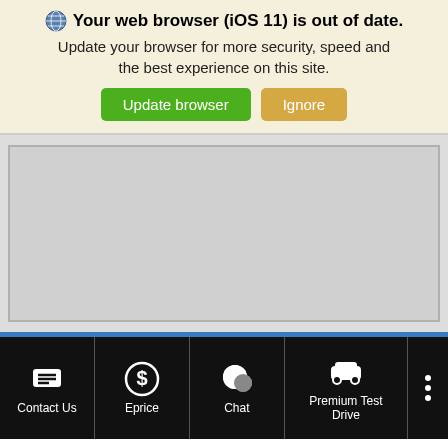Your web browser (iOS 11) is out of date. Update your browser for more security, speed and the best experience on this site.
[Figure (screenshot): Update browser and Ignore buttons on browser update banner]
[Figure (map): Gray placeholder map area]
[Figure (screenshot): Black bottom navigation bar with Contact Us, Eprice, Chat, Premium Test Drive icons and a three-dot menu]